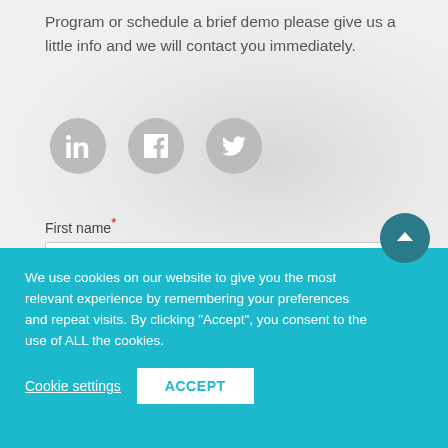Program or schedule a brief demo please give us a little info and we will contact you immediately.
[Figure (illustration): Three social media icons (LinkedIn, Facebook, Twitter) as white icons on gray circles]
First name*
We use cookies on our website to give you the most relevant experience by remembering your preferences and repeat visits. By clicking "Accept", you consent to the use of ALL the cookies.
Cookie settings   ACCEPT